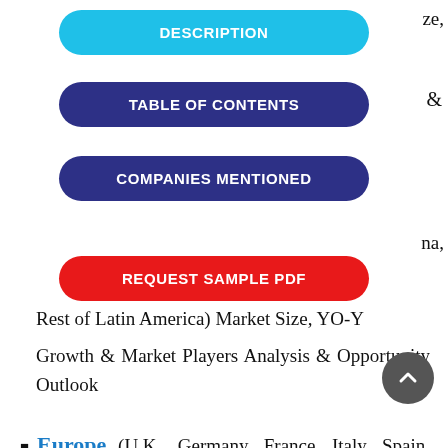DESCRIPTION
TABLE OF CONTENTS
COMPANIES MENTIONED
REQUEST SAMPLE PDF
Rest of Latin America) Market Size, YO-Y Growth & Market Players Analysis & Opportunity Outlook
Europe (U.K., Germany, France, Italy, Spain, Hungary, Belgium, Netherlands & Luxembourg, NORDIC(Finland, Sweden, Norway, Denmark), Ireland, Switzerland, Austria, Poland, Turkey, Russia, Rest of Europe), Poland, Turkey, Russia,